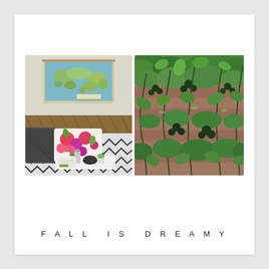[Figure (photo): Two side-by-side photos: left shows a bedroom/living space with a world map poster on the wall, a floral pillow and black-and-white patterned bedding with items on a tray; right shows a lush green ivy/vine wall growing on brick.]
FALL IS DREAMY